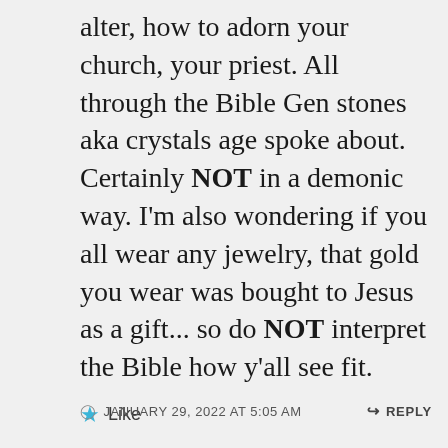alter, how to adorn your church, your priest. All through the Bible Gen stones aka crystals age spoke about. Certainly NOT in a demonic way. I'm also wondering if you all wear any jewelry, that gold you wear was bought to Jesus as a gift... so do NOT interpret the Bible how y'all see fit.
★ Like
JANUARY 29, 2022 AT 5:05 AM   REPLY